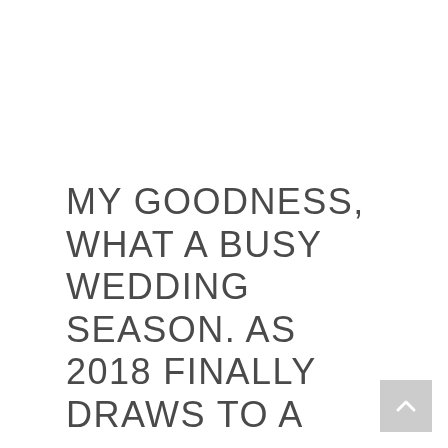MY GOODNESS, WHAT A BUSY WEDDING SEASON. AS 2018 FINALLY DRAWS TO A